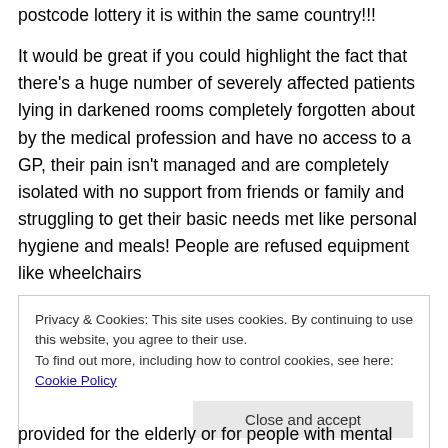postcode lottery it is within the same country!!!
It would be great if you could highlight the fact that there's a huge number of severely affected patients lying in darkened rooms completely forgotten about by the medical profession and have no access to a GP, their pain isn't managed and are completely isolated with no support from friends or family and struggling to get their basic needs met like personal hygiene and meals! People are refused equipment like wheelchairs
Privacy & Cookies: This site uses cookies. By continuing to use this website, you agree to their use. To find out more, including how to control cookies, see here: Cookie Policy
provided for the elderly or for people with mental